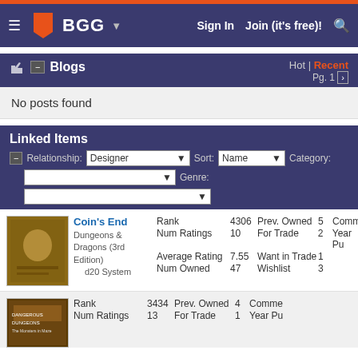BGG — Sign In | Join (it's free)!
Blogs
No posts found
Linked Items
Relationship: Designer | Sort: Name | Category: | Genre:
| Field | Value | Field | Value | Extra |
| --- | --- | --- | --- | --- |
| Rank | 4306 | Prev. Owned | 5 | Comme |
| Num Ratings | 10 | For Trade | 2 | Year Pu |
| Average Rating | 7.55 | Want in Trade | 1 |  |
| Num Owned | 47 | Wishlist | 3 |  |
Coin's End
Dungeons & Dragons (3rd Edition)
d20 System
| Field | Value | Field | Value | Extra |
| --- | --- | --- | --- | --- |
| Rank | 3434 | Prev. Owned | 4 | Comme |
| Num Ratings | 13 | For Trade | 1 | Year Pu |
| Average Rating | 7.07 | Want in Trade |  |  |
| Num Owned |  | Wishlist |  |  |